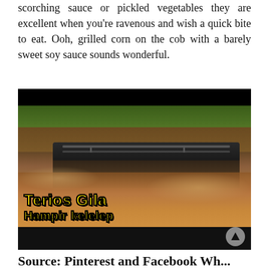scorching sauce or pickled vegetables they are excellent when you're ravenous and wish a quick bite to eat. Ooh, grilled corn on the cob with a barely sweet soy sauce sounds wonderful.
[Figure (photo): A vehicle (Daihatsu Terios) nearly submerged in muddy flood water crossing a deep river or flooded road. The car's roof and roof rack are barely visible above the brown water. Green vegetation visible in background. Text overlay reads 'Terios Gila' and 'Hampir kelelep' in bold yellow outlined font. A scroll-up arrow button is visible in the bottom right corner.]
Source: Pinterest and Facebook Wh...